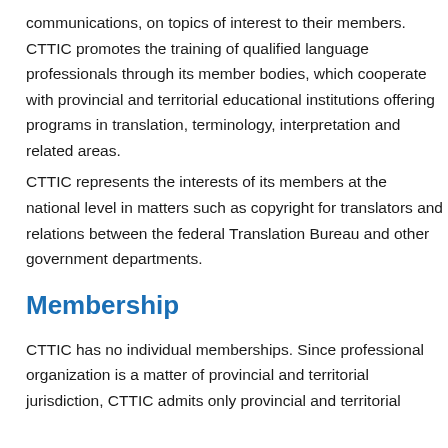communications, on topics of interest to their members. CTTIC promotes the training of qualified language professionals through its member bodies, which cooperate with provincial and territorial educational institutions offering programs in translation, terminology, interpretation and related areas.
CTTIC represents the interests of its members at the national level in matters such as copyright for translators and relations between the federal Translation Bureau and other government departments.
Membership
CTTIC has no individual memberships. Since professional organization is a matter of provincial and territorial jurisdiction, CTTIC admits only provincial and territorial